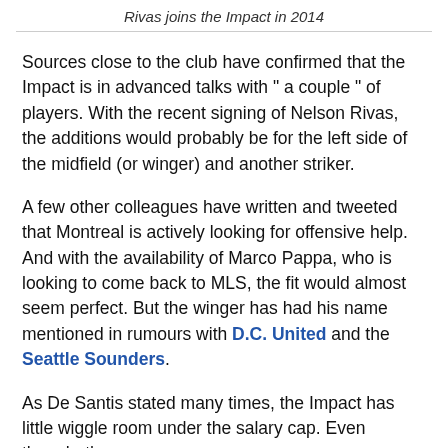MOST READS
Rivas joins the Impact in 2014
Sources close to the club have confirmed that the Impact is in advanced talks with " a couple " of players. With the recent signing of Nelson Rivas, the additions would probably be for the left side of the midfield (or winger) and another striker.
A few other colleagues have written and tweeted that Montreal is actively looking for offensive help. And with the availability of Marco Pappa, who is looking to come back to MLS, the fit would almost seem perfect. But the winger has had his name mentioned in rumours with D.C. United and the Seattle Sounders.
As De Santis stated many times, the Impact has little wiggle room under the salary cap. Even though, the